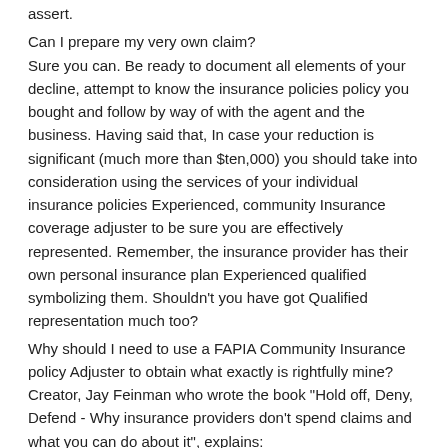assert.
Can I prepare my very own claim?
Sure you can. Be ready to document all elements of your decline, attempt to know the insurance policies policy you bought and follow by way of with the agent and the business. Having said that, In case your reduction is significant (much more than $ten,000) you should take into consideration using the services of your individual insurance policies Experienced, community Insurance coverage adjuster to be sure you are effectively represented. Remember, the insurance provider has their own personal insurance plan Experienced qualified symbolizing them. Shouldn't you have got Qualified representation much too?
Why should I need to use a FAPIA Community Insurance policy Adjuster to obtain what exactly is rightfully mine?
Creator, Jay Feinman who wrote the book "Hold off, Deny, Defend - Why insurance providers don't spend claims and what you can do about it", explains:
"Insurance policies performs in the event the insurance company honors a simple guarantee: Any time a policyholder information a claim, How to Get Insurance to Pay for Water Damage the business can pay what it owes, no far more but no less, and can achieve this promptly,